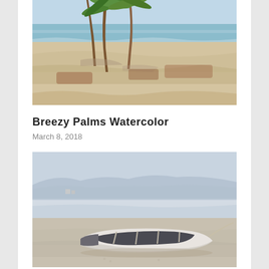[Figure (illustration): Watercolor painting of a tropical beach scene with palm trees leaning in the wind, sandy shore, and ocean waves in the background. Warm sandy and reddish-brown tones with blue-green sea.]
Breezy Palms Watercolor
March 8, 2018
[Figure (illustration): Watercolor painting of a white rowboat resting on a sandy beach with a rope, misty blue-grey hills and small buildings in the background under a hazy sky.]